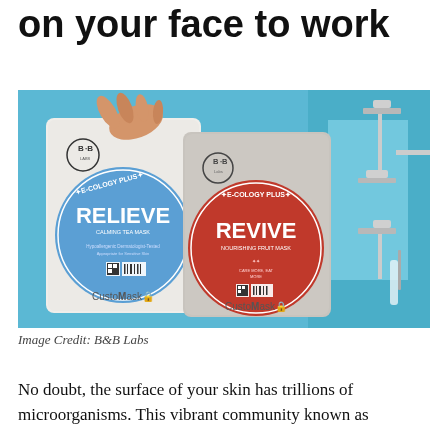on your face to work
[Figure (photo): Product photo showing two CustoMask face mask packages — one white package with a blue circular label reading 'E-COLOGY PLUS RELIEVE CALMING TEA MASK' and one grey package with a red circular label reading 'E-COLOGY PLUS REVIVE NOURISHING FRUIT MASK'. Both packages feature a B·B logo. A hand holds the white package. Background is light blue with robotic arm/equipment visible on the right.]
Image Credit: B&B Labs
No doubt, the surface of your skin has trillions of microorganisms. This vibrant community known as